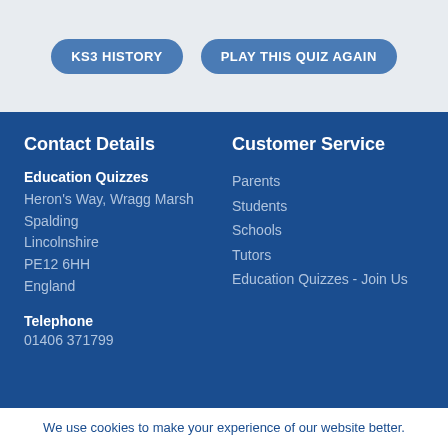KS3 HISTORY
PLAY THIS QUIZ AGAIN
Contact Details
Customer Service
Education Quizzes
Heron's Way, Wragg Marsh
Spalding
Lincolnshire
PE12 6HH
England
Telephone
01406 371799
Parents
Students
Schools
Tutors
Education Quizzes - Join Us
We use cookies to make your experience of our website better.